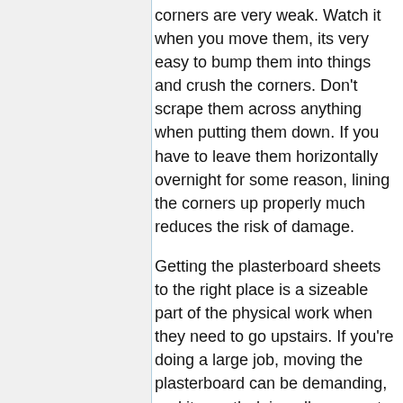corners are very weak. Watch it when you move them, its very easy to bump them into things and crush the corners. Don't scrape them across anything when putting them down. If you have to leave them horizontally overnight for some reason, lining the corners up properly much reduces the risk of damage.
Getting the plasterboard sheets to the right place is a sizeable part of the physical work when they need to go upstairs. If you're doing a large job, moving the plasterboard can be demanding, and its worth doing all you can to make this operation easier. For a large job this can include: use board lifting handles, skates/trolleys, remove doors, move everything possible out of the path, add protection at scrape points, maybe construct temporary ramps etc.